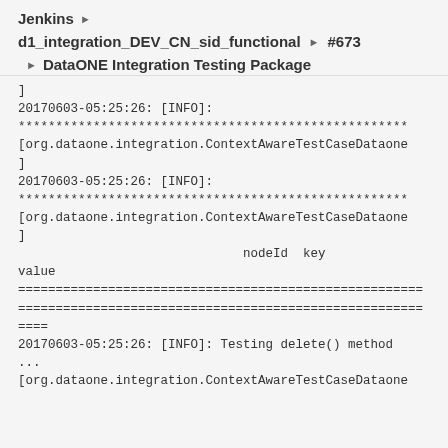Jenkins
d1_integration_DEV_CN_sid_functional  #673
DataONE Integration Testing Package
]
20170603-05:25:26: [INFO]:
****************************************************
[org.dataone.integration.ContextAwareTestCaseDataone
]
20170603-05:25:26: [INFO]:
****************************************************
[org.dataone.integration.ContextAwareTestCaseDataone
]
                              nodeId  key
value
======================================================
======================================================
====
20170603-05:25:26: [INFO]: Testing delete() method
...
[org.dataone.integration.ContextAwareTestCaseDataone